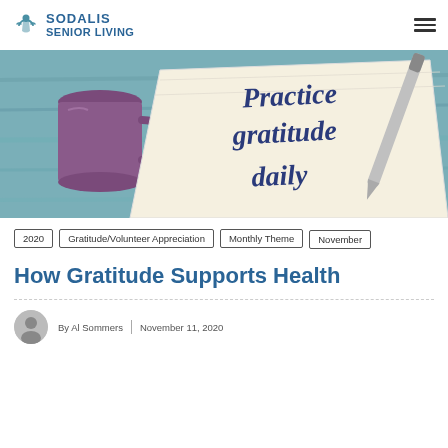SODALIS SENIOR LIVING
[Figure (photo): Photo of a napkin with 'Practice gratitude daily' written on it in blue ink, next to a purple coffee mug and a silver pen on a blue wooden surface.]
2020
Gratitude/Volunteer Appreciation
Monthly Theme
November
How Gratitude Supports Health
By Al Sommers | November 11, 2020